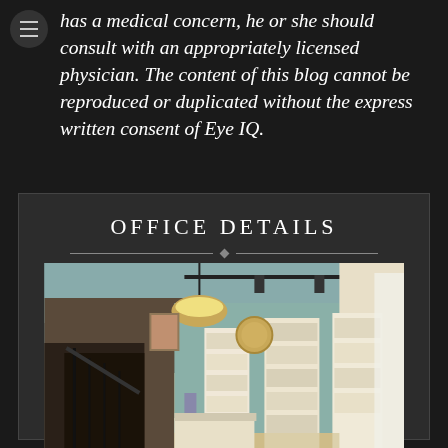has a medical concern, he or she should consult with an appropriately licensed physician. The content of this blog cannot be reproduced or duplicated without the express written consent of Eye IQ.
Office Details
[Figure (photo): Interior photo of an optometry office showroom with hanging pendant lamp, display shelving with eyeglass frames, teal-painted walls, staircase with dark metal railing, and retail display stands.]